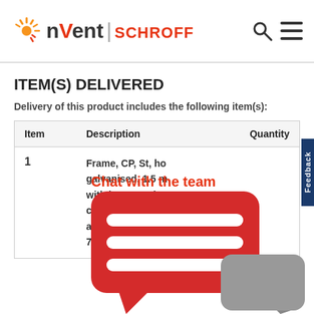[Figure (logo): nVent SCHROFF logo with sunburst graphic, search icon and hamburger menu in header]
ITEM(S) DELIVERED
Delivery of this product includes the following item(s):
| Item | Description | Quantity |
| --- | --- | --- |
| 1 | Frame, CP, St, ho galvanised, 1.5 m with integrated castors and adjustable feet, RA 7021 |  |
[Figure (illustration): Chat with the team overlay showing red speech bubble with white lines and grey reply bubble]